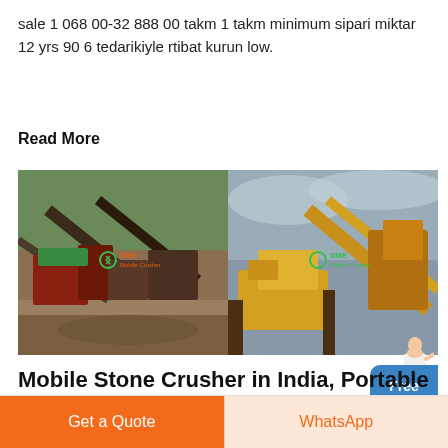sale 1 068 00-32 888 00 takm 1 takm minimum sipari miktar 12 yrs 90 6 tedarikiyle rtibat kurun low.
Read More
[Figure (photo): Two side-by-side photos of stone crushing / mining equipment machinery at outdoor industrial sites. Both images have XME logo watermarks in green.]
Mobile Stone Crusher in India, Portable Crushing Machine ...
Get a Quote
WhatsApp